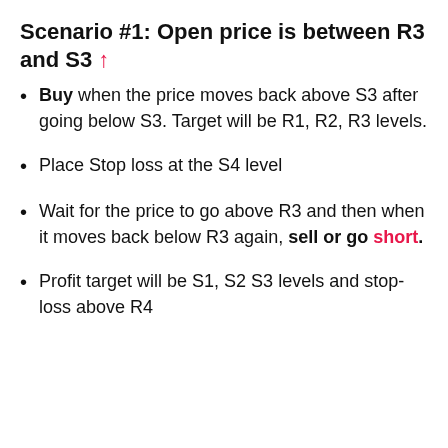Scenario #1: Open price is between R3 and S3 ↑
Buy when the price moves back above S3 after going below S3. Target will be R1, R2, R3 levels.
Place Stop loss at the S4 level
Wait for the price to go above R3 and then when it moves back below R3 again, sell or go short.
Profit target will be S1, S2 S3 levels and stop-loss above R4